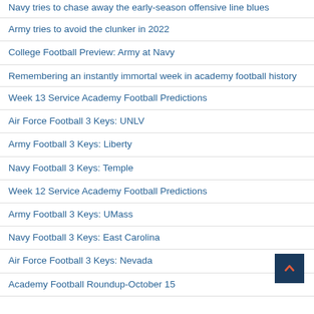Navy tries to chase away the early-season offensive line blues
Army tries to avoid the clunker in 2022
College Football Preview: Army at Navy
Remembering an instantly immortal week in academy football history
Week 13 Service Academy Football Predictions
Air Force Football 3 Keys: UNLV
Army Football 3 Keys: Liberty
Navy Football 3 Keys: Temple
Week 12 Service Academy Football Predictions
Army Football 3 Keys: UMass
Navy Football 3 Keys: East Carolina
Air Force Football 3 Keys: Nevada
Academy Football Roundup-October 15